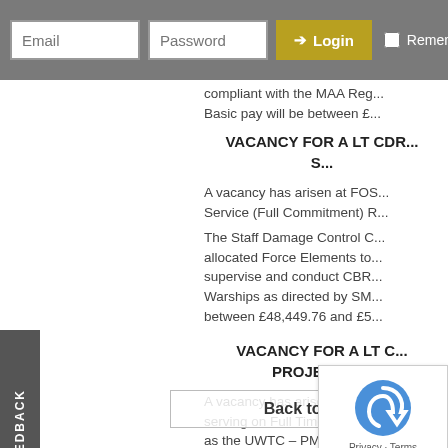Email | Password | Login | Remember Me
compliant with the MAA Reg... Basic pay will be between £...
VACANCY FOR A LT CDR... S...
A vacancy has arisen at FOS... Service (Full Commitment) R...
The Staff Damage Control C... allocated Force Elements to... supervise and conduct CBR... Warships as directed by SM... between £48,449.76 and £5...
VACANCY FOR A LT C... PROJECT M...
A vacancy has arisen at Nav... serving on Full Time Reserv... as the UWTC – PM 01.
Working to the UWTC-SO1...